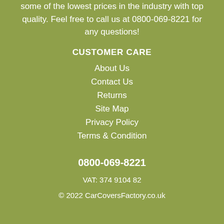some of the lowest prices in the industry with top quality. Feel free to call us at 0800-069-8221 for any questions!
CUSTOMER CARE
About Us
Contact Us
Returns
Site Map
Privacy Policy
Terms & Condition
0800-069-8221
VAT: 374 9104 82
© 2022 CarCoversFactory.co.uk